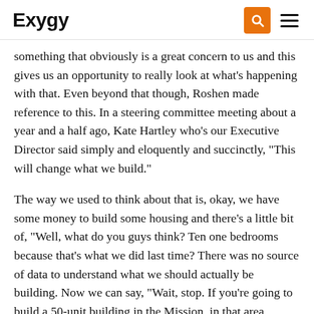Exygy
something that obviously is a great concern to us and this gives us an opportunity to really look at what's happening with that. Even beyond that though, Roshen made reference to this. In a steering committee meeting about a year and a half ago, Kate Hartley who's our Executive Director said simply and eloquently and succinctly, "This will change what we build."
The way we used to think about that is, okay, we have some money to build some housing and there's a little bit of, "Well, what do you guys think? Ten one bedrooms because that's what we did last time? There was no source of data to understand what we should actually be building. Now we can say, "Wait, stop. If you're going to build a 50-unit building in the Mission, in that area, people of this household size, and that income, that race ethnicity with